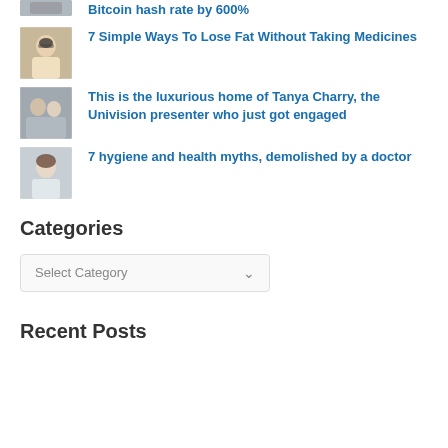Bitcoin hash rate by 600%
[Figure (photo): Thumbnail photo of a woman with sunglasses]
7 Simple Ways To Lose Fat Without Taking Medicines
[Figure (photo): Thumbnail photo of a couple]
This is the luxurious home of Tanya Charry, the Univision presenter who just got engaged
[Figure (photo): Thumbnail photo of a young woman]
7 hygiene and health myths, demolished by a doctor
Categories
Select Category
Recent Posts